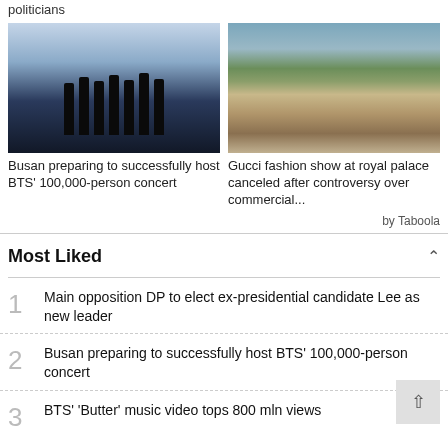politicians
[Figure (photo): Silhouettes of BTS members on stage with light blue/white curtain backdrop]
Busan preparing to successfully host BTS' 100,000-person concert
[Figure (photo): Aerial view of Korean royal palace (Gyeongbokgung) with mountains in background]
Gucci fashion show at royal palace canceled after controversy over commercial...
by Taboola
Most Liked
Main opposition DP to elect ex-presidential candidate Lee as new leader
Busan preparing to successfully host BTS' 100,000-person concert
BTS' 'Butter' music video tops 800 mln views